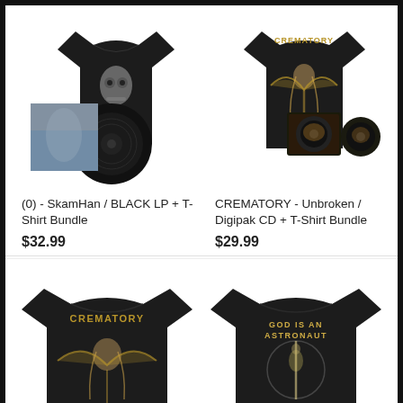[Figure (photo): Product image: SkamHan BLACK LP + T-Shirt Bundle - black t-shirt with robotic/skull design, vinyl LP with dark album cover]
(0) - SkamHan / BLACK LP + T-Shirt Bundle
$32.99
[Figure (photo): Product image: CREMATORY Unbroken Digipak CD + T-Shirt Bundle - black t-shirt with angel/demon artwork and CREMATORY logo, digipak CD set]
CREMATORY - Unbroken / Digipak CD + T-Shirt Bundle
$29.99
[Figure (photo): Product image: CREMATORY t-shirt - black t-shirt with angel/demon artwork and CREMATORY logo]
[Figure (photo): Product image: God Is An Astronaut t-shirt - black t-shirt with GOD IS AN ASTRONAUT text and circular figure/light artwork]